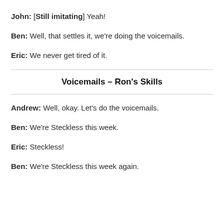John: [Still imitating] Yeah!
Ben: Well, that settles it, we're doing the voicemails.
Eric: We never get tired of it.
Voicemails – Ron's Skills
Andrew: Well, okay. Let's do the voicemails.
Ben: We're Steckless this week.
Eric: Steckless!
Ben: We're Steckless this week again.